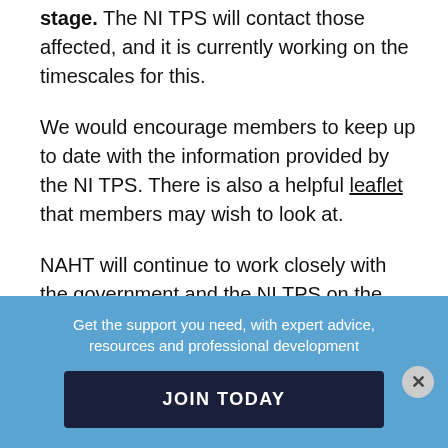stage. The NI TPS will contact those affected, and it is currently working on the timescales for this.
We would encourage members to keep up to date with the information provided by the NI TPS. There is also a helpful leaflet that members may wish to look at.
NAHT will continue to work closely with the government and the NI TPS on the
Get the support you need, with expert advice, resources and professional development
JOIN TODAY